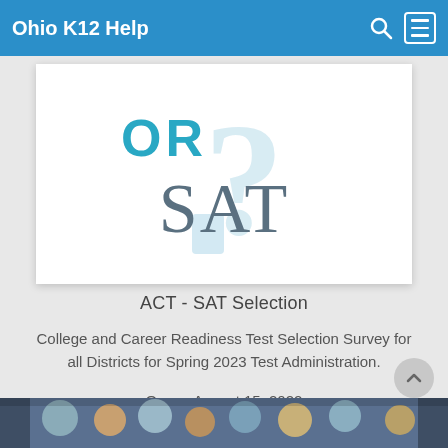Ohio K12 Help
[Figure (illustration): ACT or SAT logo graphic: the word 'OR' in teal/cyan color at the top, with a large question mark watermark in light blue behind, and the word 'SAT' in large gray serif letters below]
ACT - SAT Selection
College and Career Readiness Test Selection Survey for all Districts for Spring 2023 Test Administration.
Opens August 15, 2022
[Figure (photo): Bottom strip showing partial photo of students in a classroom or school setting]